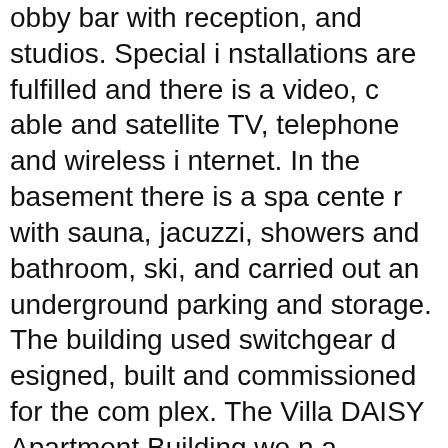obby bar with reception, and studios. Special installations are fulfilled and there is a video, cable and satellite TV, telephone and wireless internet. In the basement there is a spa center with sauna, jacuzzi, showers and bathroom, ski, and carried out an underground parking and storage. The building used switchgear designed, built and commissioned for the complex. The Villa DAISY Apartment Building won a prestigious Bulgarian Building award when it was completed in 2006. Villa Daisy is located in the up market Glazne area of Bansko next to the Glazne River. It is situated between the town center (5 mins walk) and the Gondola, which is about an 8-10 minute walk.
Bansko offers alpine quality at Bulgarian prices. It is Bulgaria's largest ski area with 24 lifts including 5 new high speed Quads and over 70 kms of marked pistes offering a good mix of Beginner, Intermediate and Advanced skiing. Bansko has an eclectic mix of old world charm mixed with cosmopolitan chic. Apres Ski entertainment is varied. Traditional Bansko ta